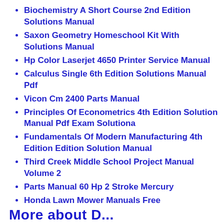Biochemistry A Short Course 2nd Edition Solutions Manual
Saxon Geometry Homeschool Kit With Solutions Manual
Hp Color Laserjet 4650 Printer Service Manual
Calculus Single 6th Edition Solutions Manual Pdf
Vicon Cm 2400 Parts Manual
Principles Of Econometrics 4th Edition Solution Manual Pdf Exam Solutiona
Fundamentals Of Modern Manufacturing 4th Edition Solution Manual
Third Creek Middle School Project Manual Volume 2
Parts Manual 60 Hp 2 Stroke Mercury
Honda Lawn Mower Manuals Free
More about D...